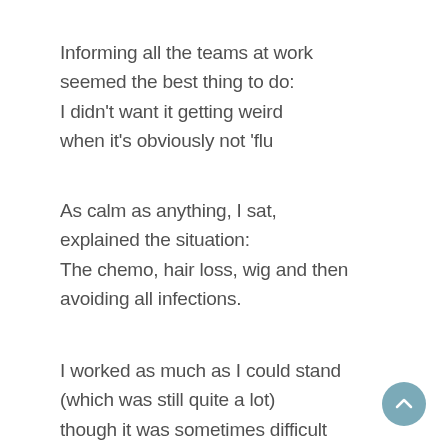Informing all the teams at work seemed the best thing to do: I didn't want it getting weird when it's obviously not 'flu
As calm as anything, I sat, explained the situation: The chemo, hair loss, wig and then avoiding all infections.
I worked as much as I could stand (which was still quite a lot) though it was sometimes difficult with concentration shot.